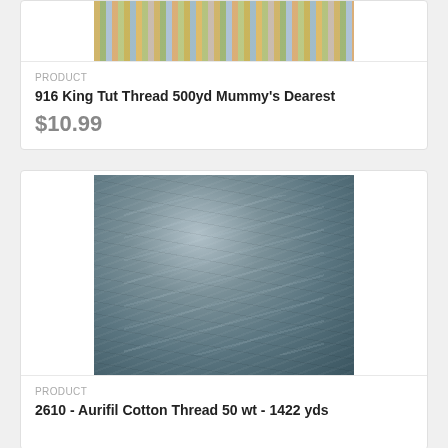[Figure (photo): Close-up of a spool of multi-colored thread (King Tut Thread) with yellow, green, blue, and tan variegated colors]
PRODUCT
916 King Tut Thread 500yd Mummy's Dearest
$10.99
[Figure (photo): Close-up of a large spool of gray-blue Aurifil Cotton Thread 50wt, showing the thread wound tightly with subtle texture and sheen]
PRODUCT
2610 - Aurifil Cotton Thread 50 wt - 1422 yds